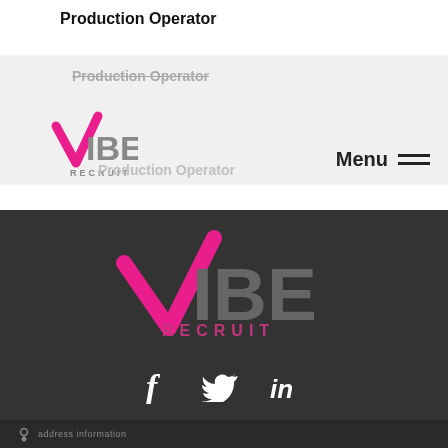Production Operator
Production Operator (ghost/nav bar text repeated)
[Figure (logo): VIBE RECRUIT logo small, pink checkmark V with grey IBE text and RECRUIT below]
Menu (hamburger menu icon)
[Figure (logo): VIBE RECRUIT logo large on dark background, pink checkmark V with grey IBE and pink RECRUIT text]
[Figure (infographic): Social media icons: Facebook (f), Twitter (bird), LinkedIn (in) in white on dark background]
Location/address bar at bottom